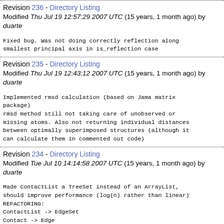Revision 236 - Directory Listing
Modified Thu Jul 19 12:57:29 2007 UTC (15 years, 1 month ago) by duarte
Fixed bug. Was not doing correctly reflection along smallest principal axis in is_reflection case
Revision 235 - Directory Listing
Modified Thu Jul 19 12:43:12 2007 UTC (15 years, 1 month ago) by duarte
Implemented rmsd calculation (based on Jama matrix package)
rmsd method still not taking care of unobserved or missing atoms. Also not returning individual distances between optimally superimposed structures (although it can calculate them in commented out code)
Revision 234 - Directory Listing
Modified Tue Jul 10 14:14:58 2007 UTC (15 years, 1 month ago) by duarte
Made ContactList a TreeSet instead of an ArrayList, should improve performance (log(n) rather than linear)
REFACTORING:
ContactList -> EdgeSet
Contact -> Edge